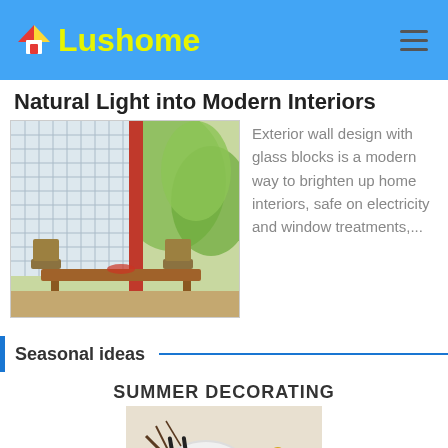Lushome
Natural Light into Modern Interiors
[Figure (photo): Interior with glass block exterior wall, wooden dining table and chairs, surrounded by green trees outdoors]
Exterior wall design with glass blocks is a modern way to brighten up home interiors, safe on electricity and window treatments,...
Seasonal ideas
SUMMER DECORATING
[Figure (photo): Table setting with white plates, black chopsticks and gold spoons on a table]